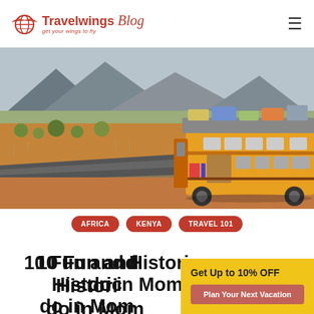Travelwings Blog — get your wings to fly
[Figure (photo): A colorfully decorated yellow bus loaded with luggage on its roof, driving on a road through dry African savanna with mountains in the background — Kenya road scene.]
AFRICA
KENYA
TRAVEL 101
10 Fun and Historic Things to do in Mombasa
Get Up to 10% OFF
Plan Your Next Vacation